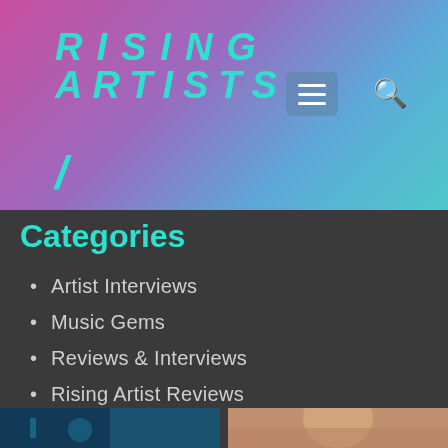RISING ARTISTS
Categories
Artist Interviews
Music Gems
Reviews & Interviews
Rising Artist Reviews
Universal Music Collaboration
[Figure (photo): Two photos side by side at bottom: left shows a dark atmospheric scene, right shows a blonde woman]